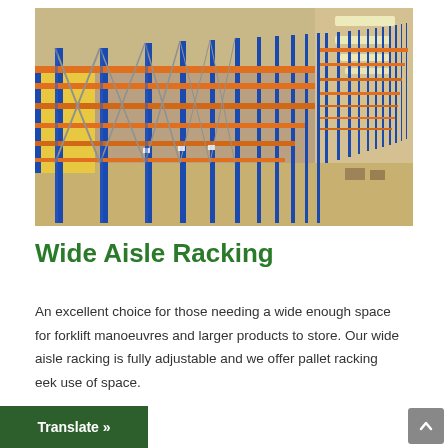[Figure (photo): Interior of a large warehouse with tall blue metal uprights and orange horizontal beams forming wide aisle pallet racking systems, viewed from a perspective angle down a long aisle.]
Wide Aisle Racking
An excellent choice for those needing a wide enough space for forklift manoeuvres and larger products to store. Our wide aisle racking is fully adjustable and we offer pallet racking eek use of space.